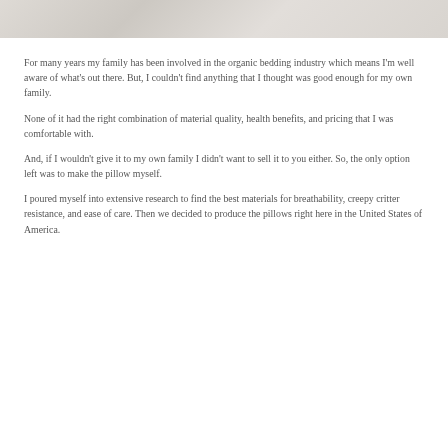[Figure (photo): Partial view of white/cream bedding or pillow fabric at the top of the page]
For many years my family has been involved in the organic bedding industry which means I'm well aware of what's out there. But, I couldn't find anything that I thought was good enough for my own family.
None of it had the right combination of material quality, health benefits, and pricing that I was comfortable with.
And, if I wouldn't give it to my own family I didn't want to sell it to you either. So, the only option left was to make the pillow myself.
I poured myself into extensive research to find the best materials for breathability, creepy critter resistance, and ease of care. Then we decided to produce the pillows right here in the United States of America.